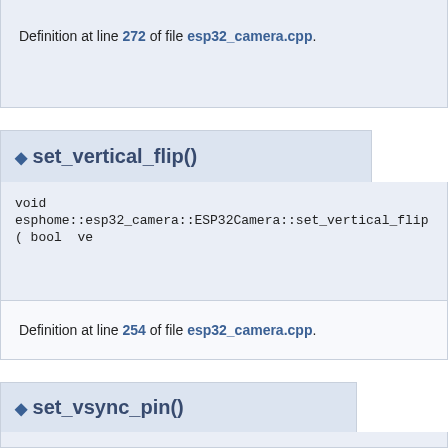Definition at line 272 of file esp32_camera.cpp.
◆ set_vertical_flip()
void
esphome::esp32_camera::ESP32Camera::set_vertical_flip ( bool ve
Definition at line 254 of file esp32_camera.cpp.
◆ set_vsync_pin()
void
esphome::esp32_camera::ESP32Camera::set_vsync_pin ( uint8_t p
Definition at line 204 of file esp32_camera.cpp.